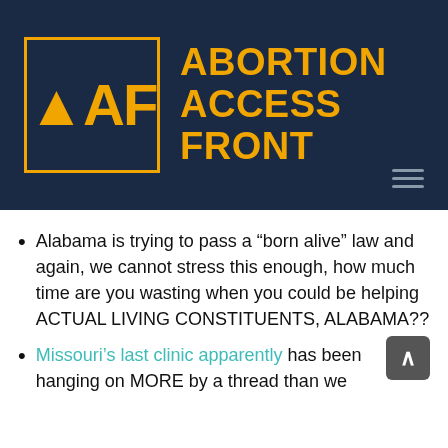[Figure (logo): Abortion Access Front logo: dark navy background with orange bordered box containing 'AAF' letters in orange, next to large bold orange text reading 'ABORTION ACCESS FRONT']
Alabama is trying to pass a “born alive” law and again, we cannot stress this enough, how much time are you wasting when you could be helping ACTUAL LIVING CONSTITUENTS, ALABAMA??
Missouri’s last clinic apparently has been hanging on MORE by a thread than we